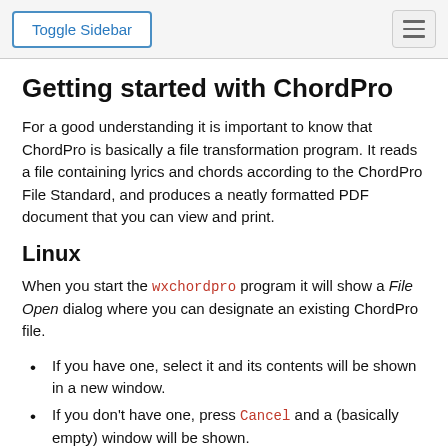Toggle Sidebar
Getting started with ChordPro
For a good understanding it is important to know that ChordPro is basically a file transformation program. It reads a file containing lyrics and chords according to the ChordPro File Standard, and produces a neatly formatted PDF document that you can view and print.
Linux
When you start the wxchordpro program it will show a File Open dialog where you can designate an existing ChordPro file.
If you have one, select it and its contents will be shown in a new window.
If you don't have one, press Cancel and a (basically empty) window will be shown.